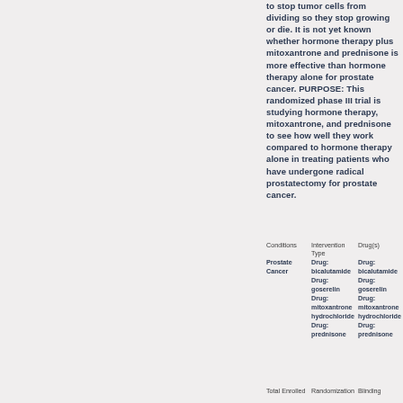to stop tumor cells from dividing so they stop growing or die. It is not yet known whether hormone therapy plus mitoxantrone and prednisone is more effective than hormone therapy alone for prostate cancer. PURPOSE: This randomized phase III trial is studying hormone therapy, mitoxantrone, and prednisone to see how well they work compared to hormone therapy alone in treating patients who have undergone radical prostatectomy for prostate cancer.
| Conditions | Intervention Type | Drug(s) |
| --- | --- | --- |
| Prostate Cancer | Drug: bicalutamide
Drug: goserelin
Drug: mitoxantrone hydrochloride
Drug: prednisone | Drug: bicalutamide
Drug: goserelin
Drug: mitoxantrone
hydrochloride
Drug: prednisone |
Total Enrolled   Randomization   Blinding